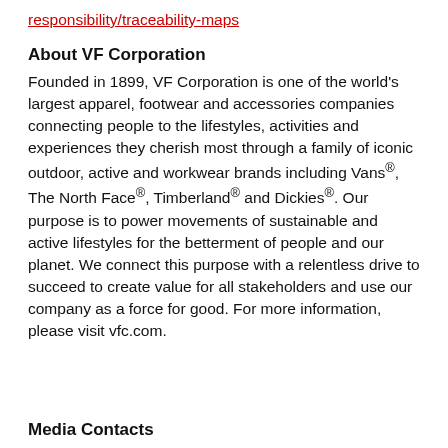responsibility/traceability-maps.
About VF Corporation
Founded in 1899, VF Corporation is one of the world's largest apparel, footwear and accessories companies connecting people to the lifestyles, activities and experiences they cherish most through a family of iconic outdoor, active and workwear brands including Vans®, The North Face®, Timberland® and Dickies®. Our purpose is to power movements of sustainable and active lifestyles for the betterment of people and our planet. We connect this purpose with a relentless drive to succeed to create value for all stakeholders and use our company as a force for good. For more information, please visit vfc.com.
Media Contacts